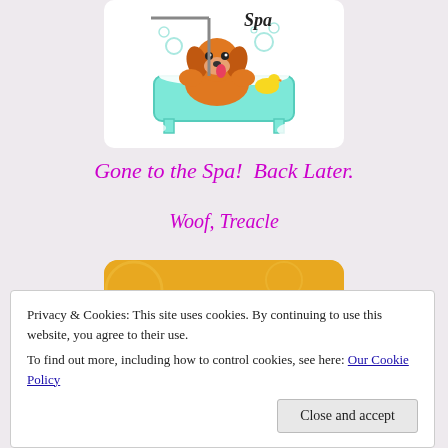[Figure (illustration): Cartoon dog in a bathtub with bubbles and a rubber duck, with text 'Dog Spa' above, white rounded rectangle background]
Gone to the Spa!  Back Later.
Woof, Treacle
[Figure (illustration): Golden/yellow rounded rectangle banner with decorative swirling brown text, partial view of a dog grooming spa logo]
[Figure (illustration): Golden/yellow rounded rectangle banner with partial cartoon dog image visible at bottom]
Privacy & Cookies: This site uses cookies. By continuing to use this website, you agree to their use.
To find out more, including how to control cookies, see here: Our Cookie Policy
Close and accept